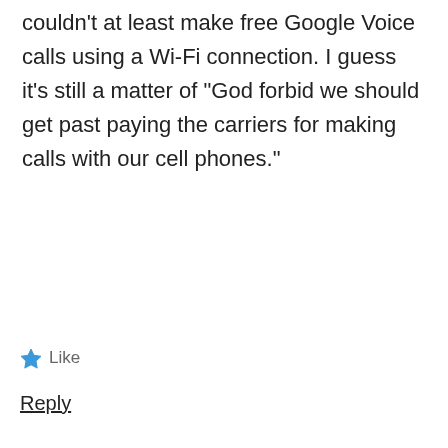couldn't at least make free Google Voice calls using a Wi-Fi connection. I guess it's still a matter of "God forbid we should get past paying the carriers for making calls with our cell phones."
★ Like
Reply
Subhas Sing says: September 27, 2011 at 8:41 pm
👍 0 👎 0 ℹ Rate This
I am also victim of this … I would have noticed few months back…grrrrrr
★ Like